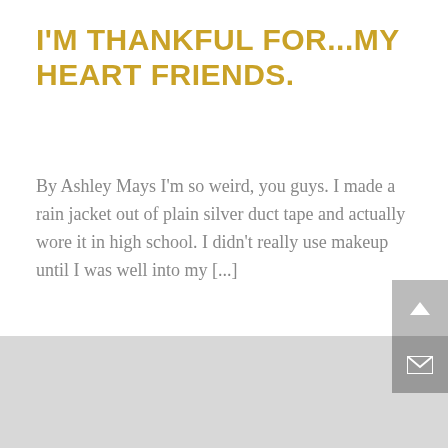I'M THANKFUL FOR...MY HEART FRIENDS.
By Ashley Mays I'm so weird, you guys. I made a rain jacket out of plain silver duct tape and actually wore it in high school. I didn't really use makeup until I was well into my [...]
READ MORE
[Figure (other): Bottom section showing a gray background area with sidebar navigation buttons: an upward chevron arrow button and an envelope/mail icon button on the right side.]